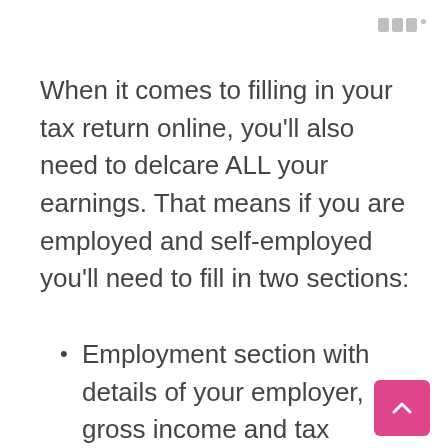When it comes to filling in your tax return online, you’ll also need to delcare ALL your earnings. That means if you are employed and self-employed you’ll need to fill in two sections:
Employment section with details of your employer, gross income and tax deducted
Self-employment section with details about your business, income and expenses